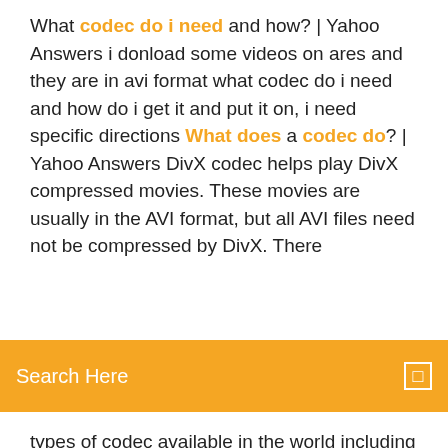What codec do i need and how? | Yahoo Answers i donload some videos on ares and they are in avi format what codec do i need and how do i get it and put it on, i need specific directions What does a codec do? | Yahoo Answers DivX codec helps play DivX compressed movies. These movies are usually in the AVI format, but all AVI files need not be compressed by DivX. There
[Figure (other): Orange search bar with text 'Search Here' and a small search icon on the right]
types of codec available in the world including DivX. Codecs: frequently asked questions - Windows Help However, it doesn't include the codecs required for Blu-ray Disc files, FLAC files, or FLV files. If something isn't working in Windows Media Player, you might not have the right codec on your PC. The easiest way to fix this problem is to go online and search for the codec you need. K-Lite Codec Pack - Wikipedia
1. K-Lite Codec Pack. One of the best codec pack on can lay their hands on in recent times is the K-Lite Codec Pack, that is